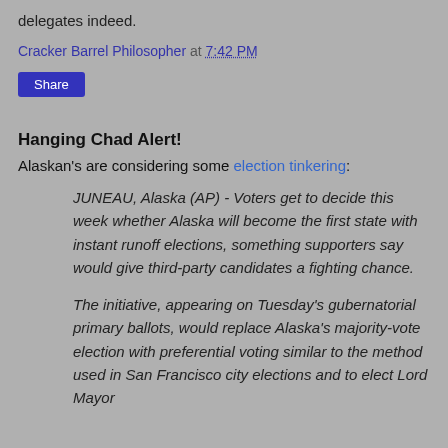delegates indeed.
Cracker Barrel Philosopher at 7:42 PM
Share
Hanging Chad Alert!
Alaskan's are considering some election tinkering:
JUNEAU, Alaska (AP) - Voters get to decide this week whether Alaska will become the first state with instant runoff elections, something supporters say would give third-party candidates a fighting chance.
The initiative, appearing on Tuesday's gubernatorial primary ballots, would replace Alaska's majority-vote election with preferential voting similar to the method used in San Francisco city elections and to elect Lord Mayor